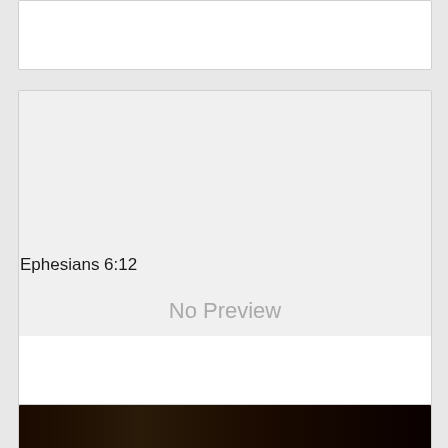[Figure (other): White card placeholder at top of page]
[Figure (other): No Preview placeholder card with light gray background and 'No Preview' text in gray]
Ephesians 6:12
[Figure (photo): Dark photograph partially visible at bottom of page]